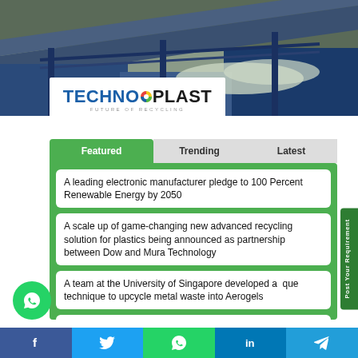[Figure (photo): Industrial recycling facility with blue conveyor belt machinery and plastic waste materials]
[Figure (logo): TechnoPlast logo with colored circle O, subtitle: FUTURE OF RECYCLING]
Featured
Trending
Latest
A leading electronic manufacturer pledge to 100 Percent Renewable Energy by 2050
A scale up of game-changing new advanced recycling solution for plastics being announced as partnership between Dow and Mura Technology
A team at the University of Singapore developed a unique technique to upcycle metal waste into Aerogels
Administrative Heads of 10 Corporations visited Jagruth Tech for Swachh Survekshan Campaign : Swachh Bharat
Post Your Requirement
f  Twitter  WhatsApp  in  Telegram